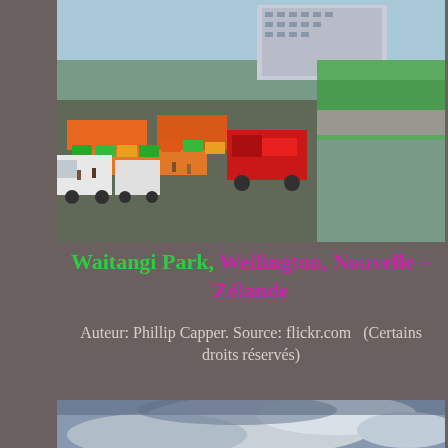[Figure (photo): Aerial view of Waitangi Park Wellington showing a produce market with colorful fruit and vegetable stalls, trucks, white vans, and modern buildings and green lawns in the background near a harbor]
Waitangi Park, Wellington, Nouvelle – Zélande
Auteur: Phillip Capper. Source: flickr.com  (Certains droits réservés)
[Figure (photo): Panoramic view of Wellington cityscape at dusk or overcast day with dramatic cloudy sky, trees in foreground and city buildings and harbor visible in the distance]